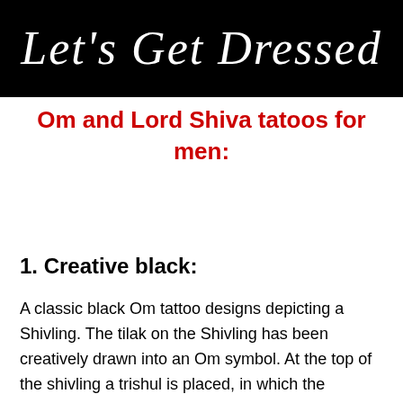Let's Get Dressed
Om and Lord Shiva tatoos for men:
1. Creative black:
A classic black Om tattoo designs depicting a Shivling. The tilak on the Shivling has been creatively drawn into an Om symbol. At the top of the shivling a trishul is placed, in which the powerful third eye of Lord Shiva is also drawn. This tattoo can also be his small the